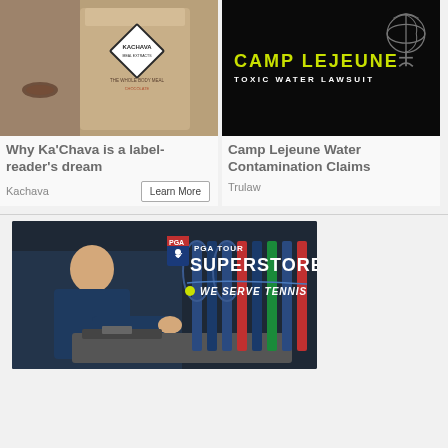[Figure (photo): Ka'Chava branded bag held by a person wearing bracelets, with a diamond-shaped logo visible on the bag]
[Figure (photo): Camp Lejeune Toxic Water Lawsuit advertisement with yellow text on dark background and Marine Corps emblem]
Why Ka'Chava is a label-reader's dream
Kachava
Learn More
Camp Lejeune Water Contamination Claims
Trulaw
[Figure (photo): PGA Tour Superstore advertisement showing a man in navy blue polo working on equipment with tennis rackets in background and 'We Serve Tennis' tagline]